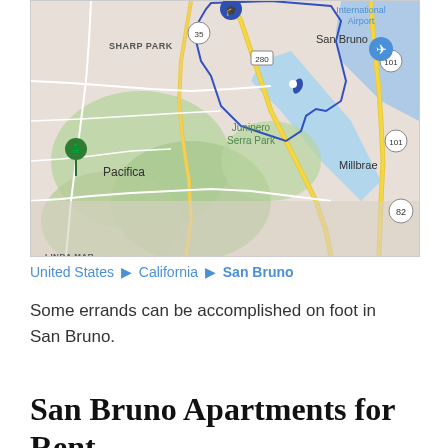[Figure (map): Google Maps view showing San Bruno, California area including Pacifica, Sharp Park, Junipero Serra Park, Millbrae, San Bruno, and San Francisco International Airport. Blue outline indicates the San Bruno boundary. Roads including Highway 35, 101, 280, and 82 are visible.]
United States ▶ California ▶ San Bruno
Some errands can be accomplished on foot in San Bruno.
San Bruno Apartments for Rent